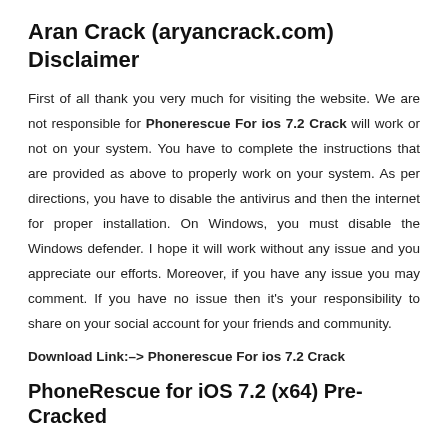Aran Crack (aryancrack.com) Disclaimer
First of all thank you very much for visiting the website. We are not responsible for Phonerescue For ios 7.2 Crack will work or not on your system. You have to complete the instructions that are provided as above to properly work on your system. As per directions, you have to disable the antivirus and then the internet for proper installation. On Windows, you must disable the Windows defender. I hope it will work without any issue and you appreciate our efforts. Moreover, if you have any issue you may comment. If you have no issue then it’s your responsibility to share on your social account for your friends and community.
Download Link:–> Phonerescue For ios 7.2 Crack
PhoneRescue for iOS 7.2 (x64) Pre-Cracked